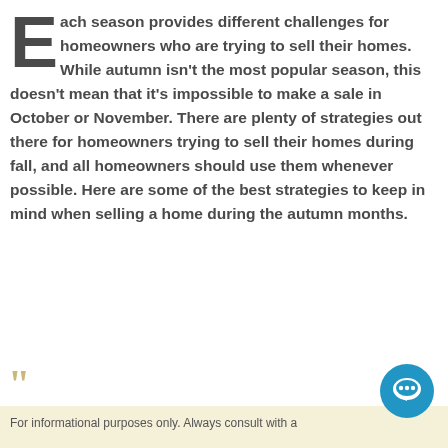Each season provides different challenges for homeowners who are trying to sell their homes. While autumn isn't the most popular season, this doesn't mean that it's impossible to make a sale in October or November. There are plenty of strategies out there for homeowners trying to sell their homes during fall, and all homeowners should use them whenever possible. Here are some of the best strategies to keep in mind when selling a home during the autumn months.
For informational purposes only. Always consult with a